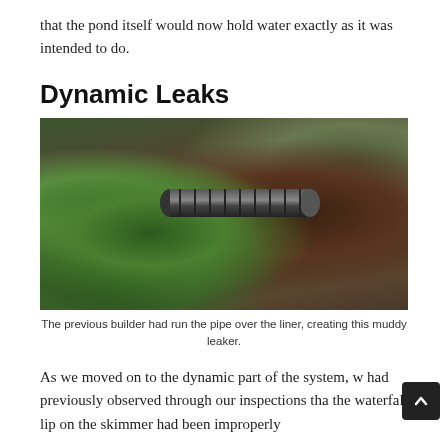that the pond itself would now hold water exactly as it was intended to do.
Dynamic Leaks
[Figure (photo): A muddy area showing a corrugated black pipe running over a pond liner, surrounded by green plants on the left and dark disturbed soil on the right.]
The previous builder had run the pipe over the liner, creating this muddy leaker.
As we moved on to the dynamic part of the system, w had previously observed through our inspections tha the waterfall lip on the skimmer had been improperly